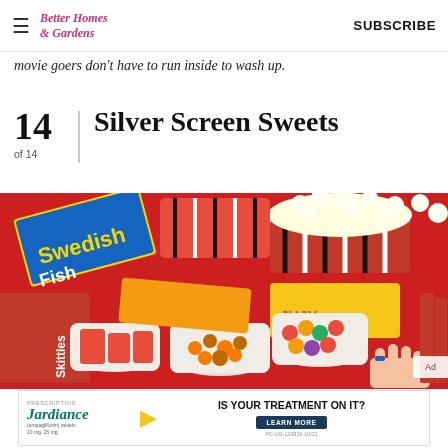Better Homes & Gardens  SUBSCRIBE
movie goers don't have to run inside to wash up.
14  Silver Screen Sweets
of 14
[Figure (photo): Overhead view of movie theater snacks on a red background: Swedish Fish box, Skittles, Reese's Pieces, Jujyfruits, popcorn in striped cups, Twizzlers, and various candy in cups]
[Figure (photo): Jardiance prescription drug advertisement: IS YOUR TREATMENT ON IT? LEARN MORE. PC-US-123819 10/21]